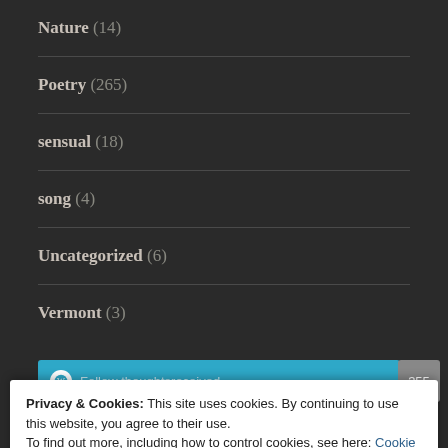Nature (14)
Poetry (265)
sensual (18)
song (4)
Uncategorized (6)
Vermont (3)
Privacy & Cookies: This site uses cookies. By continuing to use this website, you agree to their use.
To find out more, including how to control cookies, see here: Cookie Policy
Close and accept